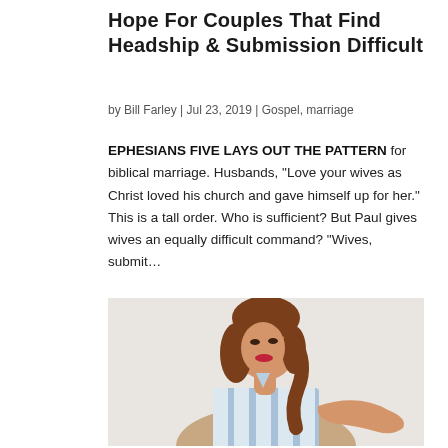Hope For Couples That Find Headship & Submission Difficult
by Bill Farley | Jul 23, 2019 | Gospel, marriage
EPHESIANS FIVE LAYS OUT THE PATTERN for biblical marriage. Husbands, "Love your wives as Christ loved his church and gave himself up for her." This is a tall order. Who is sufficient? But Paul gives wives an equally difficult command? "Wives, submit...
[Figure (photo): Photo of a young woman with long auburn wavy hair, wearing a blue and white striped shirt, smiling with red lips, extending her right hand outward with palm up, posed against a light grey/white background.]